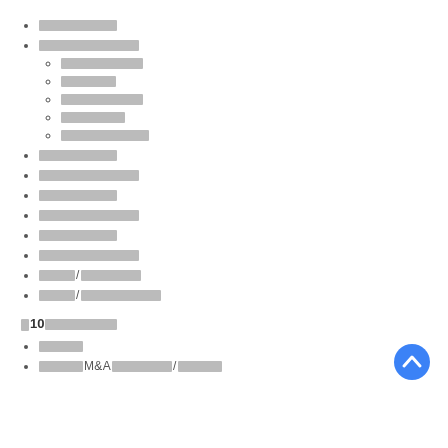■■■■■■■■■■
■■■■■■■■■■■■■■
■■■■■■■■■■■
■■■■■■■■
■■■■■■■■■■■
■■■■■■■■■
■■■■■■■■■■/■■
■■■■■■■■■■■
■■■■■■■■■■■■■■
■■■■■■■■■■■
■■■■■■■■■■■■■■
■■■■■■■■■■■
■■■■■■■■■■■■■■
■■/■■■■■■■■■■■■
■■/■■■■■■■■■■■■■■■
■10■■■■■■■■■■■
■■■■■
■■■■■M&A■■■■■■/■■■■■